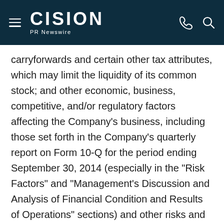CISION PR Newswire
carryforwards and certain other tax attributes, which may limit the liquidity of its common stock; and other economic, business, competitive, and/or regulatory factors affecting the Company's business, including those set forth in the Company's quarterly report on Form 10-Q for the period ending September 30, 2014 (especially in the "Risk Factors" and "Management's Discussion and Analysis of Financial Condition and Results of Operations" sections) and other risks and uncertainties listed from time to time in our filings with the SEC. Any forward-looking statements speak only as of the date hereof or as of the dates indicated in the statements. The Company does not assume any obligation to publicly update or supplement any